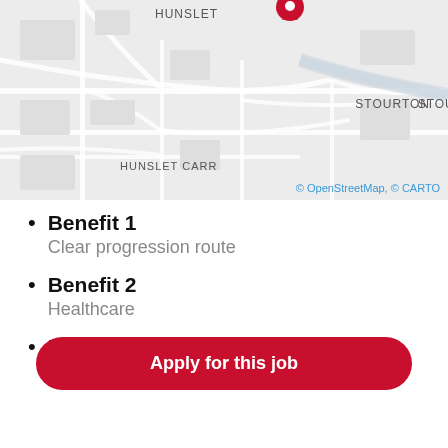[Figure (map): Street map showing Hunslet, Stourton, and Hunslet Carr areas with a red location pin marker at the top center. Map attributed to OpenStreetMap and CARTO.]
© OpenStreetMap, © CARTO
Benefit 1
Clear progression route
Benefit 2
Healthcare...
Benefit 3
Life Insurance